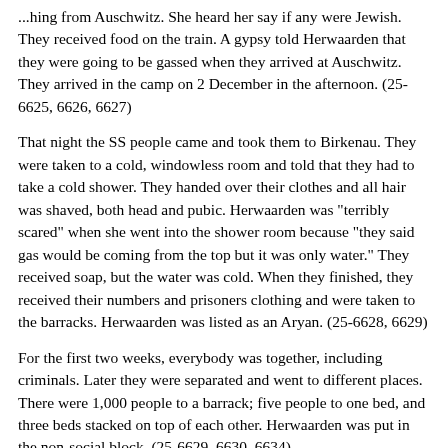...hing from Auschwitz. She heard her say if any were Jewish. They received food on the train. A gypsy told Herwaarden that they were going to be gassed when they arrived at Auschwitz. They arrived in the camp on 2 December in the afternoon. (25-6625, 6626, 6627)
That night the SS people came and took them to Birkenau. They were taken to a cold, windowless room and told that they had to take a cold shower. They handed over their clothes and all hair was shaved, both head and pubic. Herwaarden was "terribly scared" when she went into the shower room because "they said gas would be coming from the top but it was only water." They received soap, but the water was cold. When they finished, they received their numbers and prisoners clothing and were taken to the barracks. Herwaarden was listed as an Aryan. (25-6628, 6629)
For the first two weeks, everybody was together, including criminals. Later they were separated and went to different places. There were 1,000 people to a barrack; five people to one bed, and three beds stacked on top of each other. Herwaarden was put in the non-social block. (25-6629, 6630, 6634)
There were open toilet facilities at Birkenau in 1943 behind the block. There was also a sauna at the camp. Herwaarden remembers taking a sauna bath twice in it. Some people passed out because they could not take the heat. (25-6633)